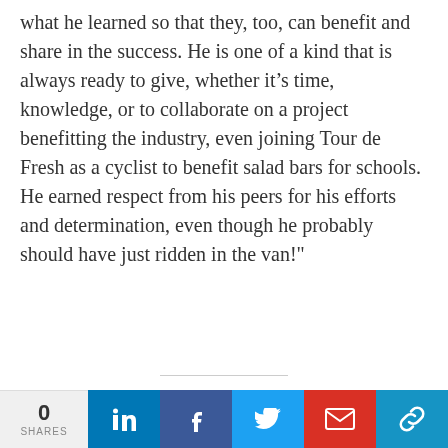what he learned so that they, too, can benefit and share in the success. He is one of a kind that is always ready to give, whether it's time, knowledge, or to collaborate on a project benefitting the industry, even joining Tour de Fresh as a cyclist to benefit salad bars for schools. He earned respect from his peers for his efforts and determination, even though he probably should have just ridden in the van!"
[Figure (photo): Circular portrait photo of a man with dark hair against a green background, cropped at the bottom]
0 SHARES | LinkedIn | Facebook | Twitter | Gmail | Link